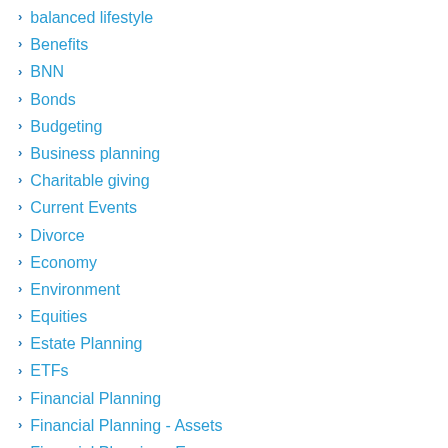balanced lifestyle
Benefits
BNN
Bonds
Budgeting
Business planning
Charitable giving
Current Events
Divorce
Economy
Environment
Equities
Estate Planning
ETFs
Financial Planning
Financial Planning - Assets
Financial Planning - Expenses
Health and Well-being
Hedge funds
Household Income
Housing